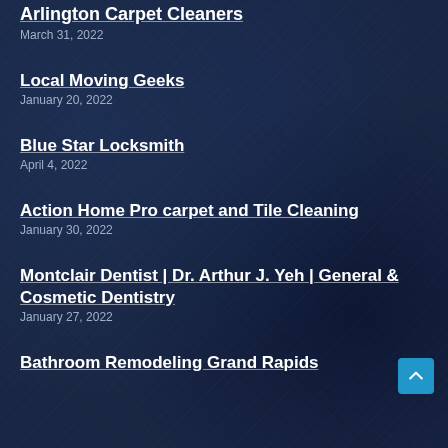Arlington Carpet Cleaners
March 31, 2022
Local Moving Geeks
January 20, 2022
Blue Star Locksmith
April 4, 2022
Action Home Pro carpet and Tile Cleaning
January 30, 2022
Montclair Dentist | Dr. Arthur J. Yeh | General & Cosmetic Dentistry
January 27, 2022
Bathroom Remodeling Grand Rapids